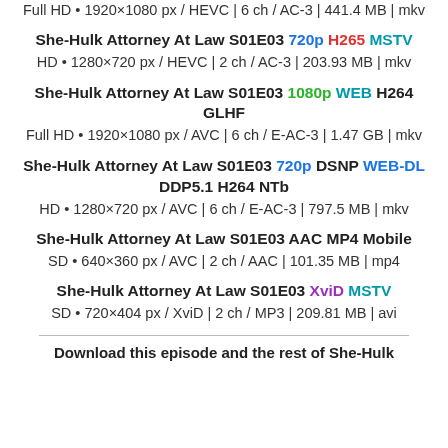Full HD • 1920×1080 px / HEVC | 6 ch / AC-3 | 441.4 MB | mkv
She-Hulk Attorney At Law S01E03 720p H265 MSTV
HD • 1280×720 px / HEVC | 2 ch / AC-3 | 203.93 MB | mkv
She-Hulk Attorney At Law S01E03 1080p WEB H264 GLHF
Full HD • 1920×1080 px / AVC | 6 ch / E-AC-3 | 1.47 GB | mkv
She-Hulk Attorney At Law S01E03 720p DSNP WEB-DL DDP5.1 H264 NTb
HD • 1280×720 px / AVC | 6 ch / E-AC-3 | 797.5 MB | mkv
She-Hulk Attorney At Law S01E03 AAC MP4 Mobile
SD • 640×360 px / AVC | 2 ch / AAC | 101.35 MB | mp4
She-Hulk Attorney At Law S01E03 XviD MSTV
SD • 720×404 px / XviD | 2 ch / MP3 | 209.81 MB | avi
Download this episode and the rest of She-Hulk